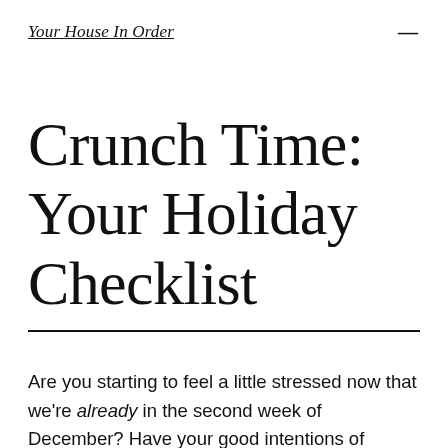Your House In Order
Crunch Time: Your Holiday Checklist
Are you starting to feel a little stressed now that we're already in the second week of December? Have your good intentions of getting all your